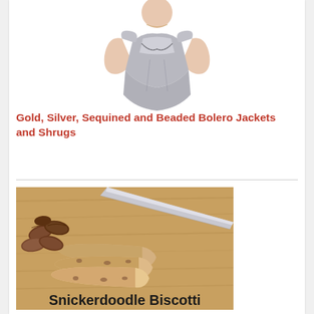[Figure (photo): Woman wearing a silver/gray satin dress with puff sleeves and sweetheart neckline, cropped to show torso only]
Gold, Silver, Sequined and Beaded Bolero Jackets and Shrugs
[Figure (photo): Snickerdoodle Biscotti - sliced biscotti on a wooden cutting board with pecans and a knife, text overlay reads 'Snickerdoodle Biscotti']